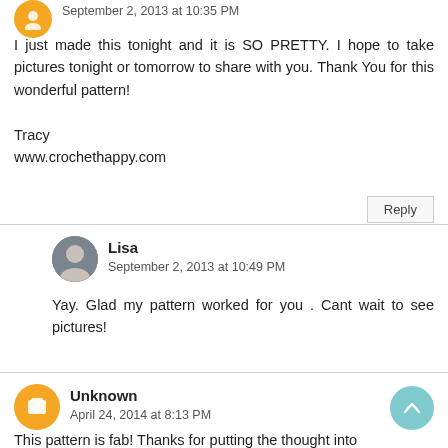September 2, 2013 at 10:35 PM
I just made this tonight and it is SO PRETTY. I hope to take pictures tonight or tomorrow to share with you. Thank You for this wonderful pattern!

Tracy
www.crochethappy.com
Reply
Lisa
September 2, 2013 at 10:49 PM
Yay. Glad my pattern worked for you . Cant wait to see pictures!
Unknown
April 24, 2014 at 8:13 PM
This pattern is fab! Thanks for putting the thought into